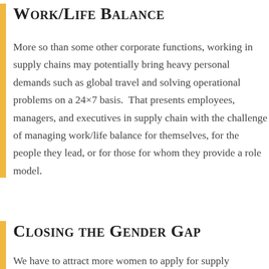Work/Life Balance
More so than some other corporate functions, working in supply chains may potentially bring heavy personal demands such as global travel and solving operational problems on a 24×7 basis.  That presents employees, managers, and executives in supply chain with the challenge of managing work/life balance for themselves, for the people they lead, or for those for whom they provide a role model.
Closing the Gender Gap
We have to attract more women to apply for supply